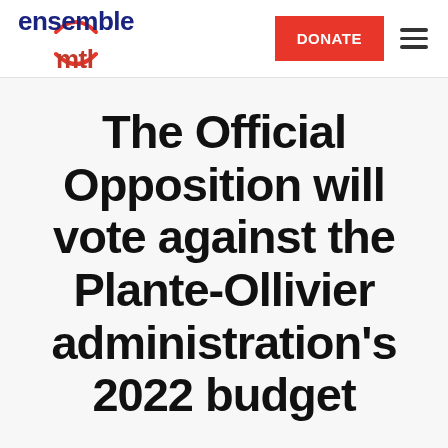[Figure (logo): Ensemble Montréal logo with red arc above 'mtl' text in red and 'ensemble' in dark blue]
[Figure (other): Red DONATE button]
[Figure (other): Hamburger menu icon (three horizontal lines)]
The Official Opposition will vote against the Plante-Ollivier administration's 2022 budget